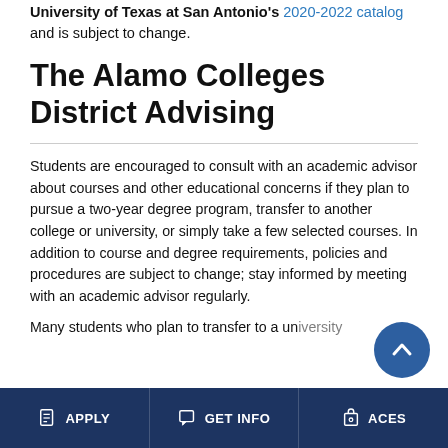University of Texas at San Antonio's 2020-2022 catalog and is subject to change.
The Alamo Colleges District Advising
Students are encouraged to consult with an academic advisor about courses and other educational concerns if they plan to pursue a two-year degree program, transfer to another college or university, or simply take a few selected courses. In addition to course and degree requirements, policies and procedures are subject to change; stay informed by meeting with an academic advisor regularly.
Many students who plan to transfer to a university...
APPLY  GET INFO  ACES